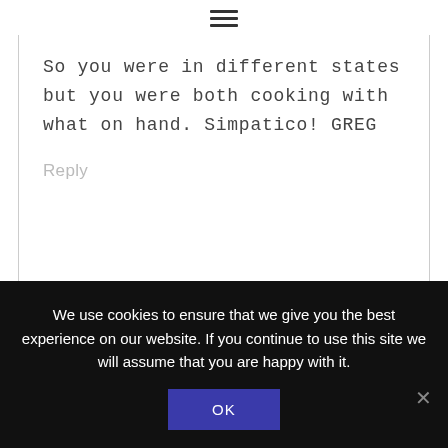≡
So you were in different states but you were both cooking with what on hand. Simpatico! GREG
Reply
We use cookies to ensure that we give you the best experience on our website. If you continue to use this site we will assume that you are happy with it.
OK